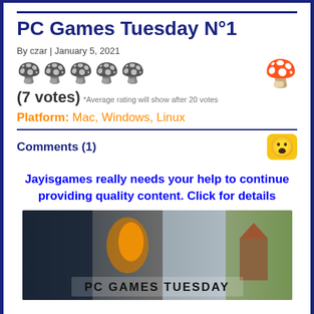PC Games Tuesday N°1
By czar | January 5, 2021
[Figure (illustration): Five gray mushroom rating icons and one pink mushroom icon on the right]
(7 votes) *Average rating will show after 20 votes
Platform: Mac, Windows, Linux
Comments (1)
Jayisgames really needs your help to continue providing quality content. Click for details
[Figure (illustration): PC Games Tuesday banner showing game characters and scenes with text PC GAMES TUESDAY at the bottom]